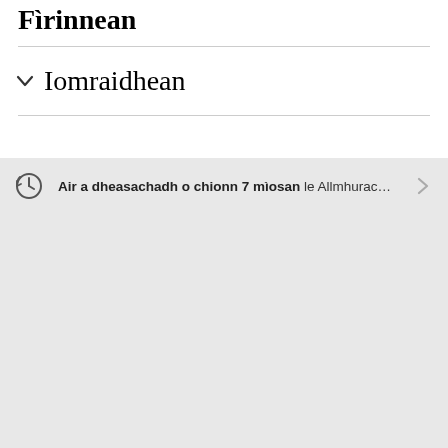Fìrinnean
Iomraidhean
Air a dheasachadh o chionn 7 mìosan le Allmhurac…